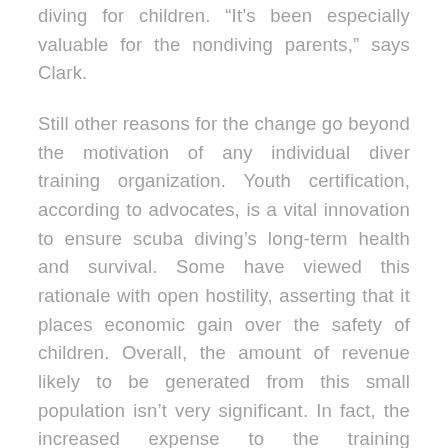diving for children. “It’s been especially valuable for the nondiving parents,” says Clark.
Still other reasons for the change go beyond the motivation of any individual diver training organization. Youth certification, according to advocates, is a vital innovation to ensure scuba diving’s long-term health and survival. Some have viewed this rationale with open hostility, asserting that it places economic gain over the safety of children. Overall, the amount of revenue likely to be generated from this small population isn’t very significant. In fact, the increased expense to the training organizations for development of age-appropriate instructional materials and special risk management procedures may exceed any profits from teaching kids.